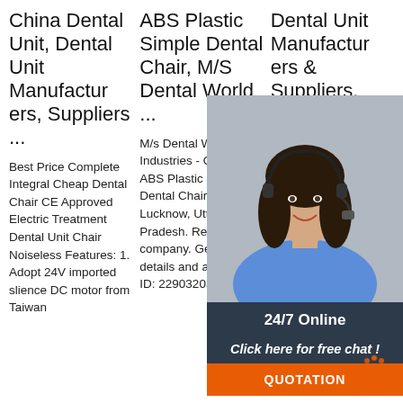China Dental Unit, Dental Unit Manufacturers, Suppliers ...
Best Price Complete Integral Cheap Dental Chair CE Approved Electric Treatment Dental Unit Chair Noiseless Features: 1. Adopt 24V imported slience DC motor from Taiwan
ABS Plastic Simple Dental Chair, M/S Dental World ...
M/s Dental World Industries - Offering ABS Plastic Simple Dental Chair in Lucknow, Uttar Pradesh. Read about company. Get contact details and address | ID: 22903203297
Dental Unit Manufacturers & Suppliers, China Den ...
Ce & F Electric Unit, C Dental Suppli Manufa Chinese Dental Product Brand, Dental Material, Dental Equipment Inquiry Basket Integral Dental Chair Unit ,
[Figure (photo): Customer service woman with headset, smiling, with 24/7 Online chat widget overlay including QUOTATION button]